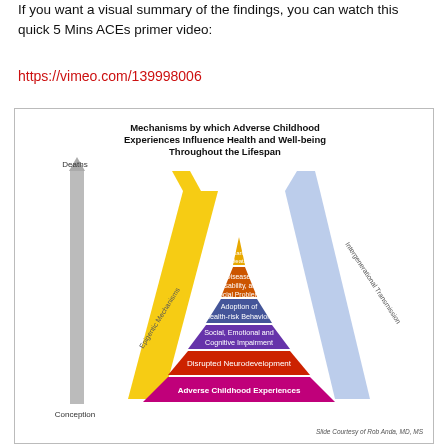If you want a visual summary of the findings, you can watch this quick 5 Mins ACEs primer video:
https://vimeo.com/139998006
[Figure (infographic): Pyramid diagram titled 'Mechanisms by which Adverse Childhood Experiences Influence Health and Well-being Throughout the Lifespan'. The pyramid shows layers from bottom to top: Adverse Childhood Experiences (magenta), Disrupted Neurodevelopment (red), Social, Emotional and Cognitive Impairment (purple), Adoption of Health-risk Behaviors (blue-purple), Disease, Disability, and Social Problems (orange-red), Early Death (yellow/gold). A grey arrow on the left points upward from Conception to Deaths. A yellow arrow points upward along the left side of the pyramid labeled 'Epigentic Mechanisms'. A blue arrow points downward along the right side labeled 'Intergenerational Transmission'. Credit: Slide Courtesy of Rob Anda, MD, MS]